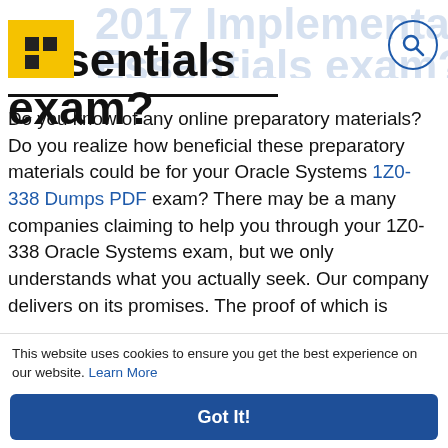2017 Implementation Essentials exam?
Do you know of any online preparatory materials? Do you realize how beneficial these preparatory materials could be for your Oracle Systems 1Z0-338 Dumps PDF exam? There may be a many companies claiming to help you through your 1Z0-338 Oracle Systems exam, but we only understands what you actually seek. Our company delivers on its promises. The proof of which is reflected in the high grades and 100% pass rate of the students who avail our services. We are the only ones who can guarantee you pass your 1Z0-338 test. The maximum we promise
This website uses cookies to ensure you get the best experience on our website. Learn More
Got It!